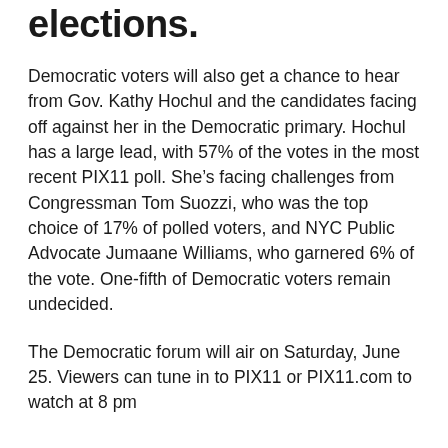elections.
Democratic voters will also get a chance to hear from Gov. Kathy Hochul and the candidates facing off against her in the Democratic primary. Hochul has a large lead, with 57% of the votes in the most recent PIX11 poll. She's facing challenges from Congressman Tom Suozzi, who was the top choice of 17% of polled voters, and NYC Public Advocate Jumaane Williams, who garnered 6% of the vote. One-fifth of Democratic voters remain undecided.
The Democratic forum will air on Saturday, June 25. Viewers can tune in to PIX11 or PIX11.com to watch at 8 pm